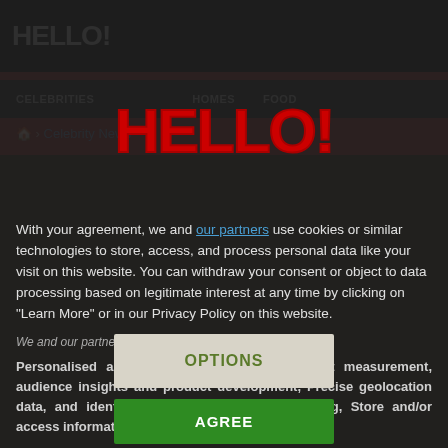[Figure (screenshot): Hello! magazine website screenshot visible in background, showing dark top nav bar with HELLO! logo text, navigation links including CELEBRITIES, HOMES, FOOD, and a Celebrity News breadcrumb. Background shows dark brownish photo area.]
[Figure (logo): HELLO! magazine logo in large bold red text centered in modal overlay]
With your agreement, we and our partners use cookies or similar technologies to store, access, and process personal data like your visit on this website. You can withdraw your consent or object to data processing based on legitimate interest at any time by clicking on "Learn More" or in our Privacy Policy on this website.
We and our partners do the following data processing:
Personalised ads and content, ad and content measurement, audience insights and product development, Precise geolocation data, and identification through device scanning, Store and/or access information on a device
OPTIONS
AGREE